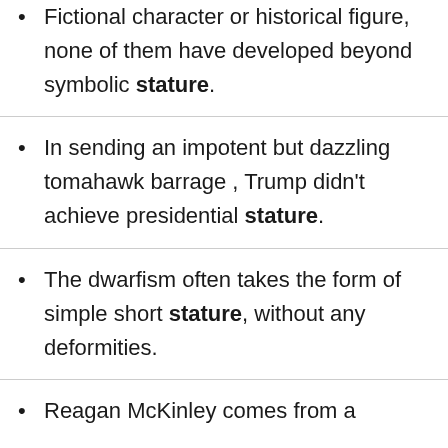Fictional character or historical figure, none of them have developed beyond symbolic stature.
In sending an impotent but dazzling tomahawk barrage , Trump didn't achieve presidential stature.
The dwarfism often takes the form of simple short stature, without any deformities.
Reagan McKinley comes from a